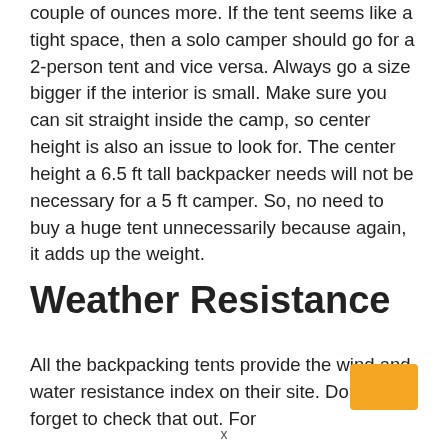couple of ounces more. If the tent seems like a tight space, then a solo camper should go for a 2-person tent and vice versa. Always go a size bigger if the interior is small. Make sure you can sit straight inside the camp, so center height is also an issue to look for. The center height a 6.5 ft tall backpacker needs will not be necessary for a 5 ft camper. So, no need to buy a huge tent unnecessarily because again, it adds up the weight.
Weather Resistance
All the backpacking tents provide the wind and water resistance index on their site. Don’t forget to check that out. For
[Figure (other): Orange/amber colored rectangle shape, partially visible at bottom right of page]
x